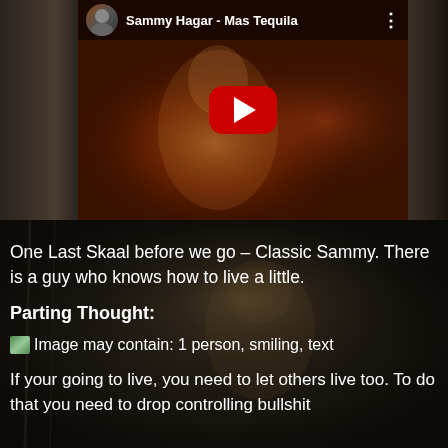[Figure (screenshot): YouTube video thumbnail for 'Sammy Hagar - Mas Tequila' showing a woman with blond hair in reddish lighting, with a red YouTube play button in the center and the video title and channel avatar at the top.]
One Last Skaal before we go – Classic Sammy. There is a guy who knows how to live a little.
Parting Thought:
[Figure (screenshot): Small image icon placeholder with alt text: Image may contain: 1 person, smiling, text]
Image may contain: 1 person, smiling, text
If your going to live, you need to let others live too. To do that you need to drop controlling bullshit